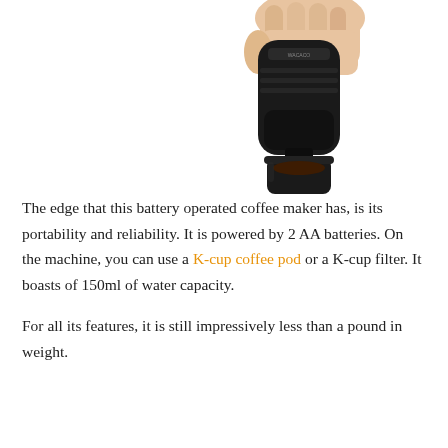[Figure (photo): A hand holding a black portable battery-operated coffee maker device tilted downward, dispensing dark coffee into a small black cylindrical cup below it. The device appears to be the Wacaco Minipresso or similar brand. Background is white.]
The edge that this battery operated coffee maker has, is its portability and reliability. It is powered by 2 AA batteries. On the machine, you can use a K-cup coffee pod or a K-cup filter. It boasts of 150ml of water capacity.
For all its features, it is still impressively less than a pound in weight.